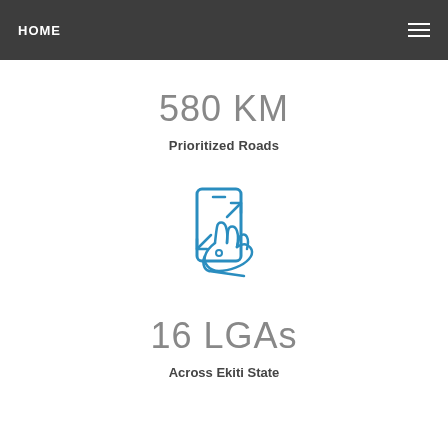HOME
580 KM
Prioritized Roads
[Figure (illustration): Icon of a hand touching/swiping a smartphone screen, rendered in blue outline style]
16 LGAs
Across Ekiti State